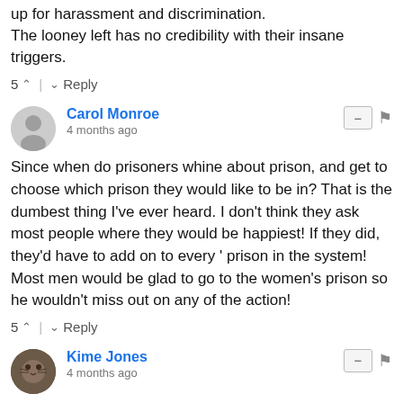up for harassment and discrimination.
The looney left has no credibility with their insane triggers.
5 ^ | v Reply
Carol Monroe
4 months ago
Since when do prisoners whine about prison, and get to choose which prison they would like to be in? That is the dumbest thing I've ever heard. I don't think they ask most people where they would be happiest! If they did, they'd have to add on to every ' prison in the system! Most men would be glad to go to the women's prison so he wouldn't miss out on any of the action!
5 ^ | v Reply
Kime Jones
4 months ago
Who didn't see that coming.
5 ^ | v Reply
Terry Bryant
4 months ago
(Article from headline ABA) After the American Civil...